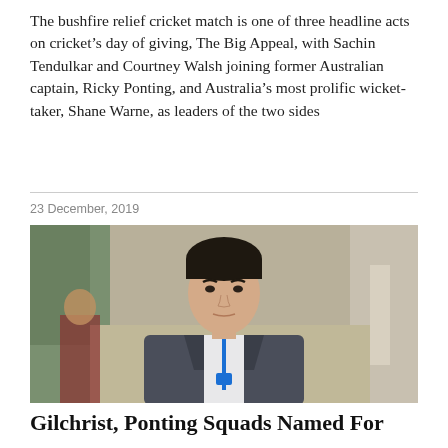The bushfire relief cricket match is one of three headline acts on cricket's day of giving, The Big Appeal, with Sachin Tendulkar and Courtney Walsh joining former Australian captain, Ricky Ponting, and Australia's most prolific wicket-taker, Shane Warne, as leaders of the two sides
23 December, 2019
[Figure (photo): Photo of a man in a dark suit jacket with a white shirt and blue lanyard, with a serious expression, in front of a blurred indoor/outdoor background.]
Gilchrist, Ponting Squads Named For